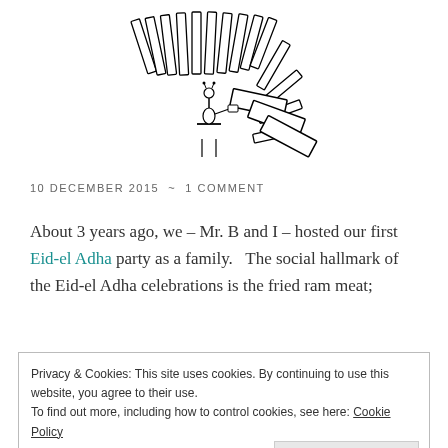[Figure (illustration): Black and white cartoon illustration of a figure (possibly a giraffe or fantastical creature) seated at a desk or table, surrounded by large domino-like rectangular blocks arranged in a curved pattern, with some blocks falling]
10 DECEMBER 2015 ~ 1 COMMENT
About 3 years ago, we – Mr. B and I – hosted our first Eid-el Adha party as a family.   The social hallmark of the Eid-el Adha celebrations is the fried ram meat;
Privacy & Cookies: This site uses cookies. By continuing to use this website, you agree to their use.
To find out more, including how to control cookies, see here: Cookie Policy
Close and accept